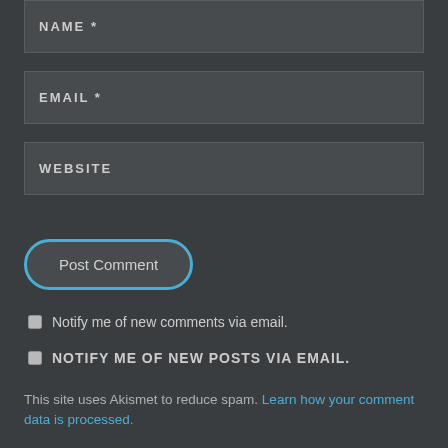NAME *
EMAIL *
WEBSITE
Post Comment
Notify me of new comments via email.
NOTIFY ME OF NEW POSTS VIA EMAIL.
This site uses Akismet to reduce spam. Learn how your comment data is processed.